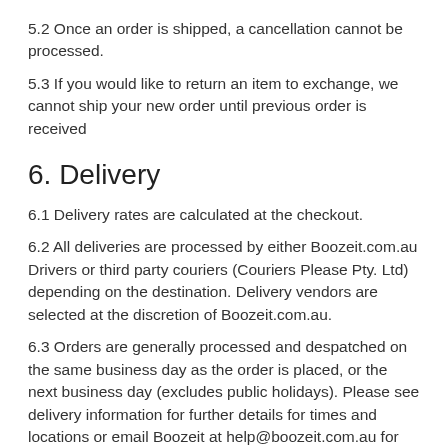5.2 Once an order is shipped, a cancellation cannot be processed.
5.3 If you would like to return an item to exchange, we cannot ship your new order until previous order is received
6. Delivery
6.1 Delivery rates are calculated at the checkout.
6.2 All deliveries are processed by either Boozeit.com.au Drivers or third party couriers (Couriers Please Pty. Ltd) depending on the destination. Delivery vendors are selected at the discretion of Boozeit.com.au.
6.3 Orders are generally processed and despatched on the same business day as the order is placed, or the next business day (excludes public holidays). Please see delivery information for further details for times and locations or email Boozeit at help@boozeit.com.au for any questions relating to delivery.